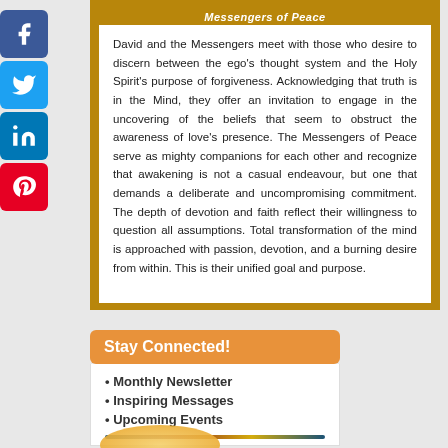David and the Messengers meet with those who desire to discern between the ego's thought system and the Holy Spirit's purpose of forgiveness. Acknowledging that truth is in the Mind, they offer an invitation to engage in the uncovering of the beliefs that seem to obstruct the awareness of love's presence. The Messengers of Peace serve as mighty companions for each other and recognize that awakening is not a casual endeavour, but one that demands a deliberate and uncompromising commitment. The depth of devotion and faith reflect their willingness to question all assumptions. Total transformation of the mind is approached with passion, devotion, and a burning desire from within. This is their unified goal and purpose.
Stay Connected!
Monthly Newsletter
Inspiring Messages
Upcoming Events